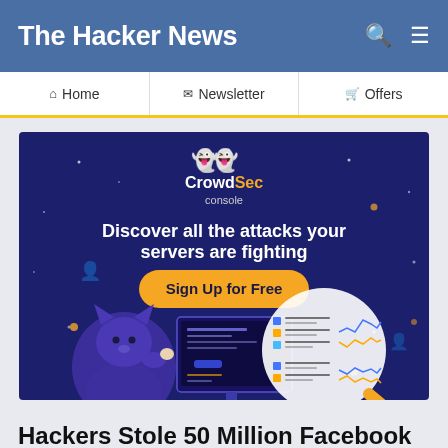The Hacker News
Home   Newsletter   Offers
[Figure (illustration): CrowdSec console advertisement banner with dark blue/purple background. Shows a cartoon wolf/dog character at a computer, a magnifying glass overlay with analytics charts, stars in the background. Text reads: 'CrowdSec console — Discover all the attacks your servers are fighting — Sign Up for Free']
Hackers Stole 50 Million Facebook